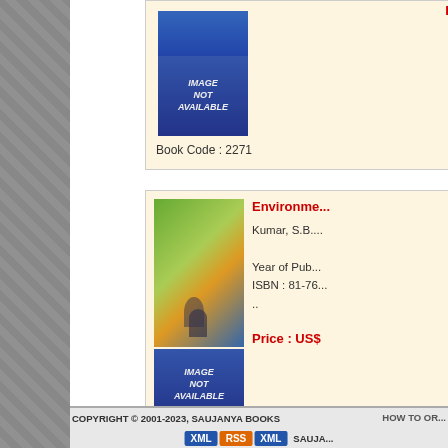[Figure (screenshot): Book listing page from Saujanya Books website showing two book entries with images, book codes, and pagination]
Book Code : 2271
Price : US$
Environme...
Kumar, S.B....
Year of Pub... ISBN : 81-76...
..
Price : US$
Book Code : 5531
Previous  1 2 3 4 5 6 7 8 9...
26 27 28 29 30 31 32 33 34 35...
52 53 54 55 56 57 58 59 60 6...
78 79 80 81 82 83 84 85 86 87...
103 104 105 106...
COPYRIGHT © 2001-2023, SAUJANYA BOOKS   HOW TO OR...   XML RSS XML   SAUJA...